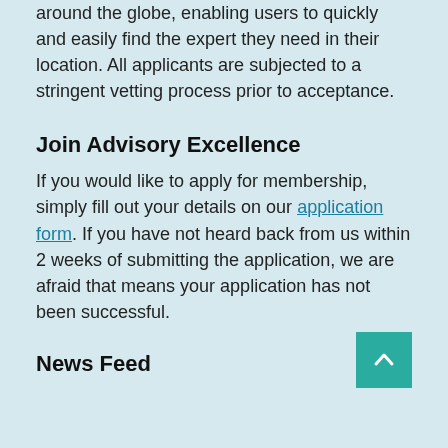Advisory Excellence profiles the best advisers around the globe, enabling users to quickly and easily find the expert they need in their location. All applicants are subjected to a stringent vetting process prior to acceptance.
Join Advisory Excellence
If you would like to apply for membership, simply fill out your details on our application form. If you have not heard back from us within 2 weeks of submitting the application, we are afraid that means your application has not been successful.
News Feed